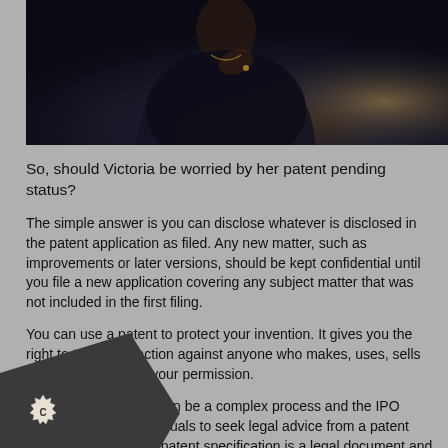[Figure (photo): Cropped photo of a person (appears to be a woman) in dark clothing against a dark background, shown from shoulders up]
So, should Victoria be worried by her patent pending status?
The simple answer is you can disclose whatever is disclosed in the patent application as filed. Any new matter, such as improvements or later versions, should be kept confidential until you file a new application covering any subject matter that was not included in the first filing.
You can use a patent to protect your invention. It gives you the right to take legal action against anyone who makes, uses, sells or imports it without your permission.
Applying for a patent can be a complex process and the IPO strongly advises individuals to seek legal advice from a patent attorney or advisor. A patent specification is a legal document and requires specialist skills to draft properly.
anted a patent, your invention must be all of the